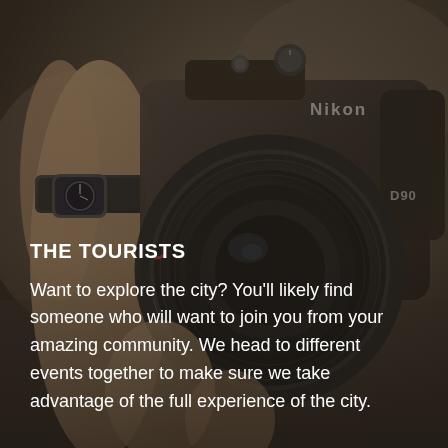[Figure (photo): Close-up photograph of hands holding a Nikon D90 DSLR camera with a lens hood attached, with a dark semi-transparent overlay.]
THE TOURISTS
Want to explore the city? You'll likely find someone who will want to join you from your amazing community. We head to different events together to make sure we take advantage of the full experience of the city.